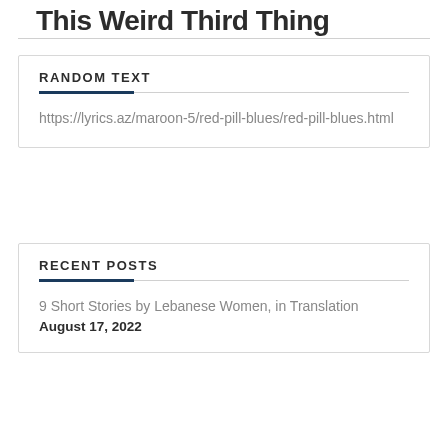This Weird Third Thing
RANDOM TEXT
https://lyrics.az/maroon-5/red-pill-blues/red-pill-blues.html
RECENT POSTS
9 Short Stories by Lebanese Women, in Translation
August 17, 2022